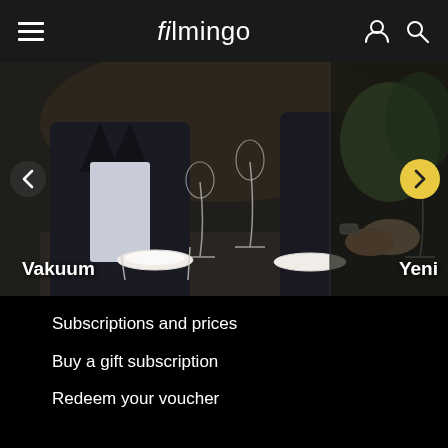filmingo
[Figure (screenshot): Filmingo website screenshot showing a movie carousel with 'Vakuum' film (dinner scene) on the left and 'Yeni' film partially visible on the right, with navigation arrows]
Subscriptions and prices
Buy a gift subscription
Redeem your voucher
Frequently Asked Questions
iOS App ↗